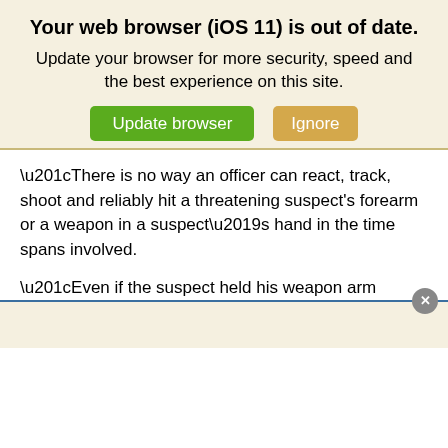Your web browser (iOS 11) is out of date.
Update your browser for more security, speed and the best experience on this site.
[Figure (screenshot): Two buttons: green 'Update browser' and tan/orange 'Ignore']
“There is no way an officer can react, track, shoot and reliably hit a threatening suspect's forearm or a weapon in a suspect’s hand in the time spans involved.
“Even if the suspect held his weapon arm steady for half a second or more, an accurate hit would be highly unlikely, and in police shootings the suspect and his weapon are seldom stationary. Plus, the officer himself may be moving as he shoots.
[Figure (screenshot): Partial popup overlay with close button (X) and white content area at bottom of page]